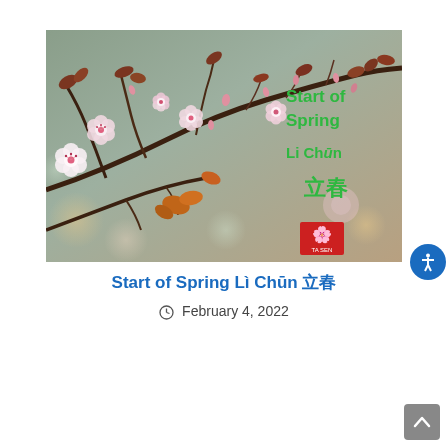[Figure (photo): Cherry blossom branches with pink flowers and dark reddish-brown leaves against a blurred grey-green background. Text overlay in green reads 'Start of Spring Li Chūn' and Chinese characters '立春'. Small red logo in bottom right corner.]
Start of Spring Lì Chūn 立春
February 4, 2022